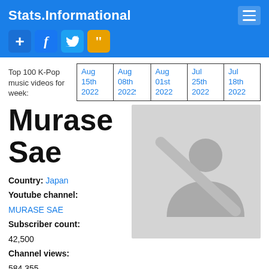Stats.Informational
|  | Aug 15th 2022 | Aug 08th 2022 | Aug 01st 2022 | Jul 25th 2022 | Jul 18th 2022 |
| --- | --- | --- | --- | --- | --- |
| Top 100 K-Pop music videos for week: | Aug 15th 2022 | Aug 08th 2022 | Aug 01st 2022 | Jul 25th 2022 | Jul 18th 2022 |
Murase Sae
Country: Japan
Youtube channel: MURASE SAE
Subscriber count: 42,500
Channel views: 584,355
[Figure (photo): Placeholder user image with a crossed-out person silhouette on light grey background]